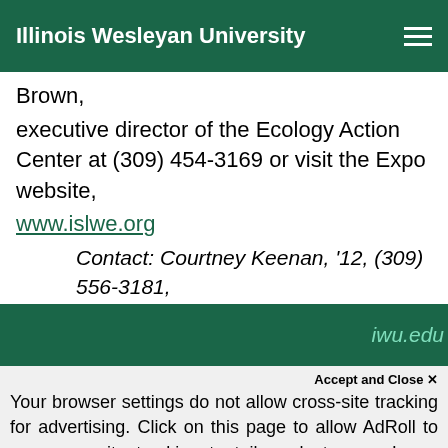Illinois Wesleyan University
Brown,
executive director of the Ecology Action Center at (309) 454-3169 or visit the Expo website,
www.islwe.org
Contact: Courtney Keenan, '12, (309) 556-3181,
iwu.edu
Your browser settings do not allow cross-site tracking for advertising. Click on this page to allow AdRoll to use cross-site tracking to tailor ads to you. Learn more or opt out of this AdRoll tracking by clicking here. This message only appears once.